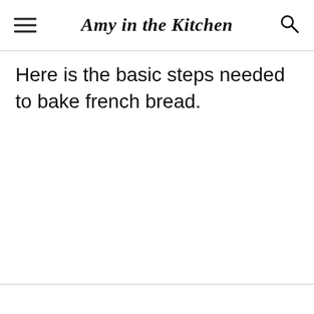Amy in the kitchen
Here is the basic steps needed to bake french bread.